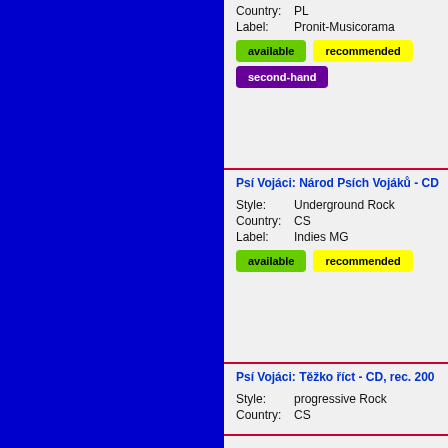Country: PL
Label: Pronit-Musicorama
available
recommended
second-hand
Psí Vojáci: Národ Psích Vojáků - CD
Style: Underground Rock
Country: CS
Label: Indies MG
available
recommended
Psí Vojáci: Těžko říct - CD, rec. 200
Style: progressive Rock
Country: CS